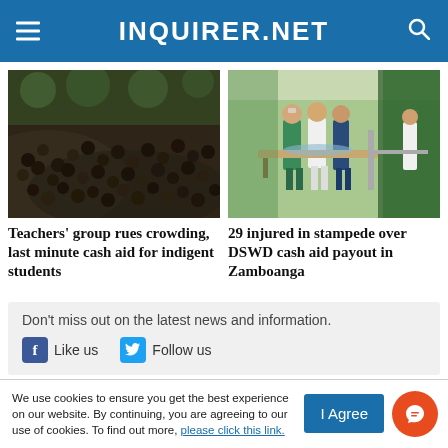INQUIRER.NET
[Figure (photo): Large crowd of people gathered outdoors, densely packed]
Teachers' group rues crowding, last minute cash aid for indigent students
[Figure (photo): Medical workers pushing a patient on a stretcher outside a building]
29 injured in stampede over DSWD cash aid payout in Zamboanga
Don't miss out on the latest news and information.
Like us   Follow us
We use cookies to ensure you get the best experience on our website. By continuing, you are agreeing to our use of cookies. To find out more, please click this link.